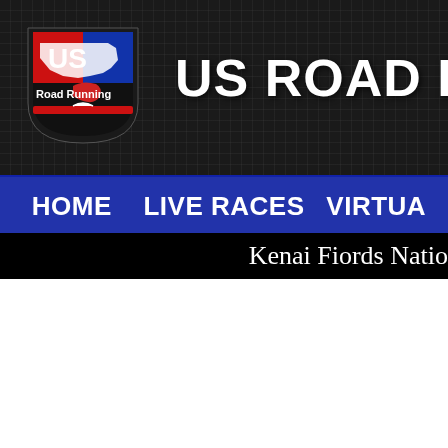US ROAD RUNNING
[Figure (logo): US Road Running logo - shield shape with US map outline, red and blue colors]
HOME    LIVE RACES    VIRTUA
Kenai Fiords Natio
[Figure (photo): Close-up photo of a race medal or award with chrome ring and blue center badge showing partial text 'WE', with dark background of rocky terrain]